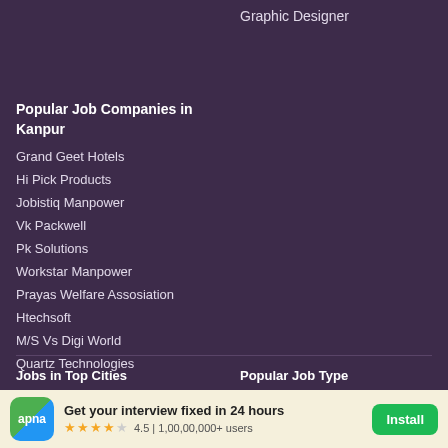Graphic Designer
Popular Job Companies in Kanpur
Grand Geet Hotels
Hi Pick Products
Jobistiq Manpower
Vk Packwell
Pk Solutions
Workstar Manpower
Prayas Welfare Assosiation
Htechsoft
M/S Vs Digi World
Quartz Technologies
Jobs in Top Cities
Popular Job Type
Get your interview fixed in 24 hours 4.5 | 1,00,00,000+ users